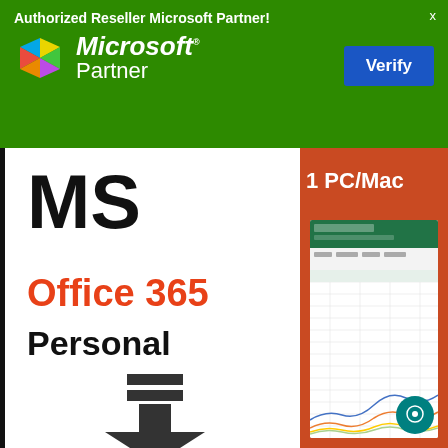Authorized Reseller Microsoft Partner!
x
[Figure (logo): Microsoft Partner logo with colorful triangular icon, white Microsoft bold italic text and Partner text below]
Verify
[Figure (screenshot): MS Office 365 Personal product image. Left panel shows large black MS text, red Office 365, bold black Personal, and a download arrow. Right panel shows orange sidebar with 1 PC/Mac text and Excel spreadsheet screenshot.]